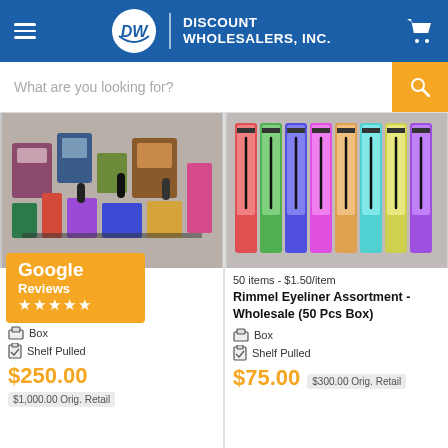Discount Wholesalers, Inc.
What are you looking for?
[Figure (photo): Assorted makeup and cosmetics products piled together in a wholesale box]
[Figure (photo): Rimmel eyeliner assortment products in colorful packaging arranged side by side]
Google Reviews ★★★★★
50 items - $1.50/item
Assorted Makeup (Pcs Box)
Rimmel Eyeliner Assortment - Wholesale (50 Pcs Box)
Box
Shelf Pulled
Box
Shelf Pulled
$250.00
$1,000.00 Orig. Retail
$75.00
$300.00 Orig. Retail